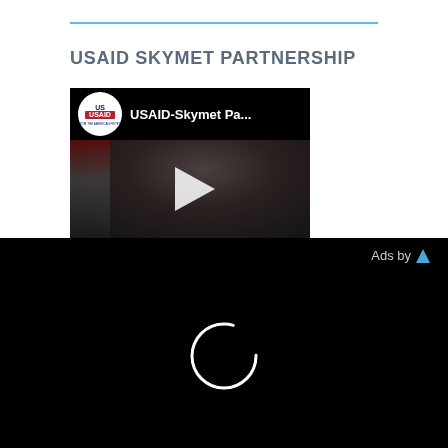USAID SKYMET PARTNERSHIP
[Figure (screenshot): Video thumbnail showing USAID-Skymet Partnership video with USAID logo circle, video title 'USAID-Skymet Pa...' and a play button overlay on a dark background with a person's face]
[Figure (screenshot): Black ad section with 'Ads by' label and a loading spinner circle in the center]